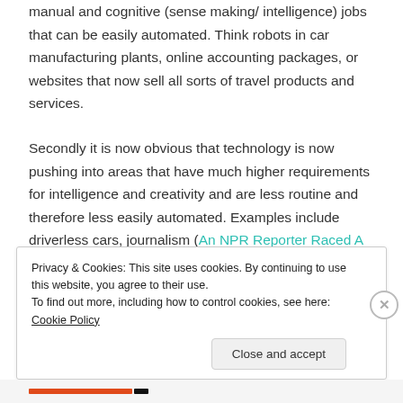manual and cognitive (sense making/ intelligence) jobs that can be easily automated. Think robots in car manufacturing plants, online accounting packages, or websites that now sell all sorts of travel products and services.
Secondly it is now obvious that technology is now pushing into areas that have much higher requirements for intelligence and creativity and are less routine and therefore less easily automated. Examples include driverless cars, journalism (An NPR Reporter Raced A Machine To Write A News Story. Who Won?),
Privacy & Cookies: This site uses cookies. By continuing to use this website, you agree to their use.
To find out more, including how to control cookies, see here: Cookie Policy
Close and accept